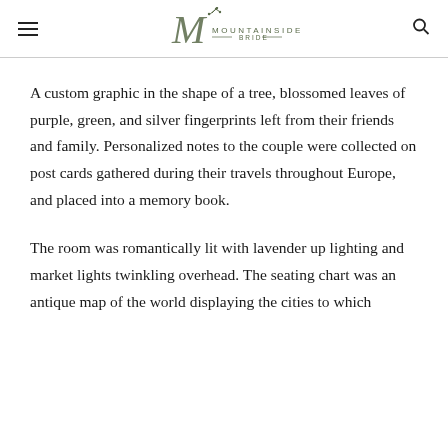Mountainside Bride
A custom graphic in the shape of a tree, blossomed leaves of purple, green, and silver fingerprints left from their friends and family. Personalized notes to the couple were collected on post cards gathered during their travels throughout Europe, and placed into a memory book.
The room was romantically lit with lavender up lighting and market lights twinkling overhead. The seating chart was an antique map of the world displaying the cities to which